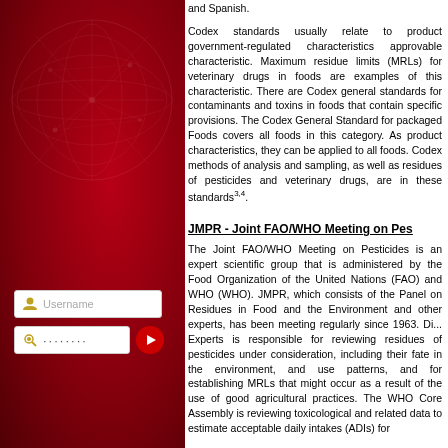[Figure (illustration): Red left panel with globe/network overlay pattern and a login form with username and password fields and a red go button]
and Spanish.
Codex standards usually relate to product government-regulated characteristics approvable characteristic. Maximum residue limits (MRLs) for veterinary drugs in foods are examples of this characteristic. There are Codex general standards for contaminants and toxins in foods that contain specific provisions. The Codex General Standard for packaged Foods covers all foods in this category. As product characteristics, they can be applied to all foods. Codex methods of analysis and sampling, as well as residues of pesticides and veterinary drugs, are in these standards3,4.
JMPR - Joint FAO/WHO Meeting on Pesticides
The Joint FAO/WHO Meeting on Pesticides is an expert scientific group that is administered by the Food Organization of the United Nations (FAO) and WHO (WHO). JMPR, which consists of the Panel on Residues in Food and the Environment and other experts, has been meeting regularly since 1963. D... Experts is responsible for reviewing residues of pesticides under consideration, including their fate in the environment, and use patterns, and for establishing MRLs that might occur as a result of the use of good agricultural practices. The WHO Core Assembly is reviewing toxicological and related data to estimate acceptable daily intakes (ADIs) for...